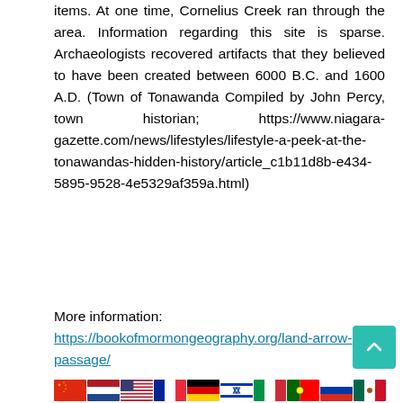items. At one time, Cornelius Creek ran through the area. Information regarding this site is sparse. Archaeologists recovered artifacts that they believed to have been created between 6000 B.C. and 1600 A.D. (Town of Tonawanda Compiled by John Percy, town historian; https://www.niagara-gazette.com/news/lifestyles/lifestyle-a-peek-at-the-tonawandas-hidden-history/article_c1b11d8b-e434-5895-9528-4e5329af359a.html)
More information: https://bookofmormongeography.org/land arrow-passage/